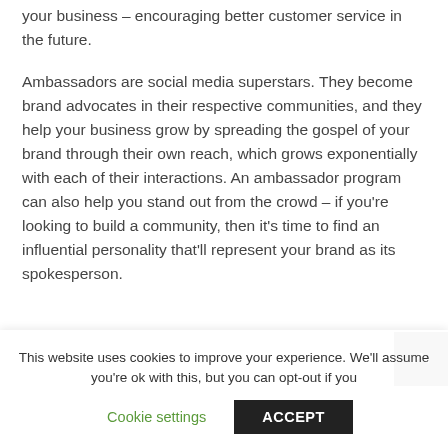your business – encouraging better customer service in the future.
Ambassadors are social media superstars. They become brand advocates in their respective communities, and they help your business grow by spreading the gospel of your brand through their own reach, which grows exponentially with each of their interactions. An ambassador program can also help you stand out from the crowd – if you're looking to build a community, then it's time to find an influential personality that'll represent your brand as its spokesperson.
This website uses cookies to improve your experience. We'll assume you're ok with this, but you can opt-out if you wish.